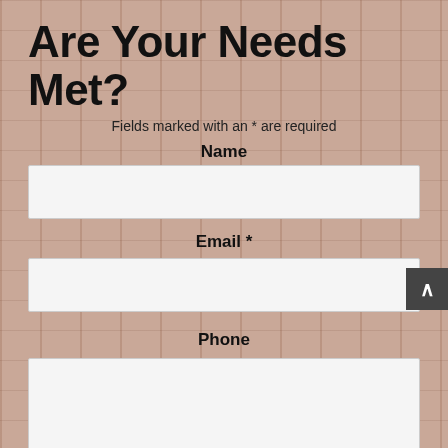Are Your Needs Met?
Fields marked with an * are required
Name
Email *
Phone